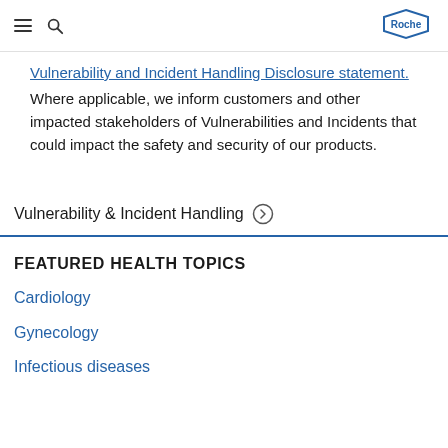Roche
Vulnerability and Incident Handling Disclosure statement. Where applicable, we inform customers and other impacted stakeholders of Vulnerabilities and Incidents that could impact the safety and security of our products.
Vulnerability & Incident Handling →
FEATURED HEALTH TOPICS
Cardiology
Gynecology
Infectious diseases